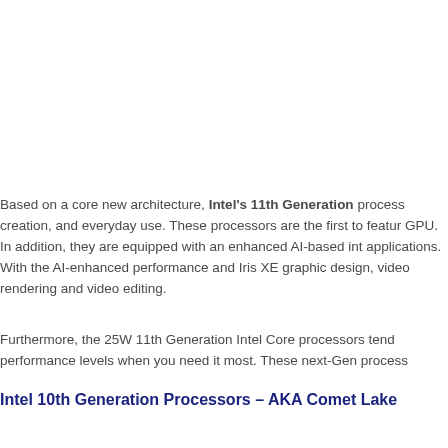Based on a core new architecture, Intel's 11th Generation processors are designed for content creation, and everyday use. These processors are the first to feature Intel's new Iris XE GPU. In addition, they are equipped with an enhanced AI-based intelligence for smarter applications. With the AI-enhanced performance and Iris XE graphics, it excels in graphic design, video rendering and video editing.
Furthermore, the 25W 11th Generation Intel Core processors tend to maintain consistent performance levels when you need it most. These next-Gen processors...
Intel 10th Generation Processors – AKA Comet Lake